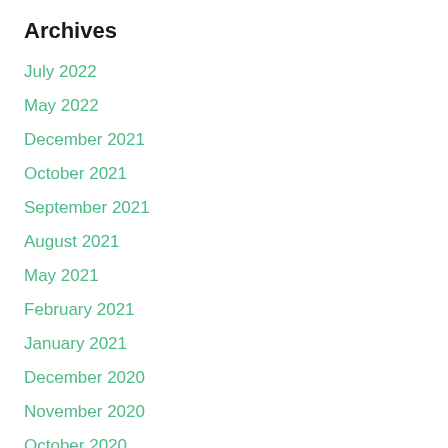Archives
July 2022
May 2022
December 2021
October 2021
September 2021
August 2021
May 2021
February 2021
January 2021
December 2020
November 2020
October 2020